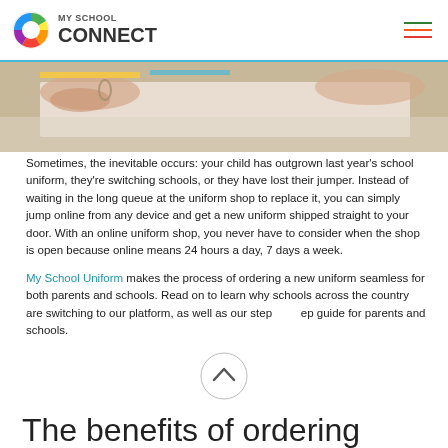MY SCHOOL CONNECT
[Figure (photo): Close-up photo of a child's hands holding a book or papers on a desk]
Sometimes, the inevitable occurs: your child has outgrown last year's school uniform, they're switching schools, or they have lost their jumper. Instead of waiting in the long queue at the uniform shop to replace it, you can simply jump online from any device and get a new uniform shipped straight to your door. With an online uniform shop, you never have to consider when the shop is open because online means 24 hours a day, 7 days a week.
My School Uniform makes the process of ordering a new uniform seamless for both parents and schools. Read on to learn why schools across the country are switching to our platform, as well as our step by step guide for parents and schools.
The benefits of ordering